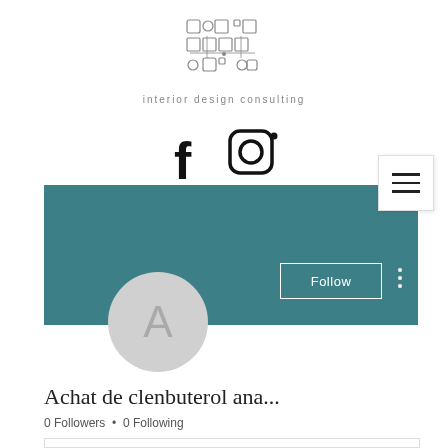[Figure (logo): Interior design consulting logo — geometric grid of small squares and circles arranged in a hashtag-like pattern, with text 'interior design consulting' below]
[Figure (illustration): Facebook 'f' icon and Instagram camera icon in black, side by side]
[Figure (screenshot): Social media profile page screenshot: teal banner header, hamburger menu button (top right), avatar circle with letter A, Follow button, three-dot menu, profile name 'Achat de clenbuterol ana...', follower stats '0 Followers • 0 Following', bottom card border]